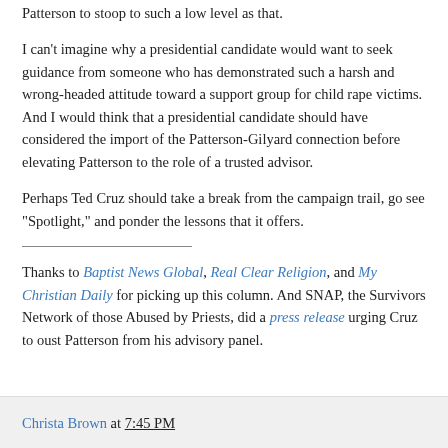Patterson to stoop to such a low level as that.
I can't imagine why a presidential candidate would want to seek guidance from someone who has demonstrated such a harsh and wrong-headed attitude toward a support group for child rape victims. And I would think that a presidential candidate should have considered the import of the Patterson-Gilyard connection before elevating Patterson to the role of a trusted advisor.
Perhaps Ted Cruz should take a break from the campaign trail, go see "Spotlight," and ponder the lessons that it offers.
Thanks to Baptist News Global, Real Clear Religion, and My Christian Daily for picking up this column. And SNAP, the Survivors Network of those Abused by Priests, did a press release urging Cruz to oust Patterson from his advisory panel.
Christa Brown at 7:45 PM